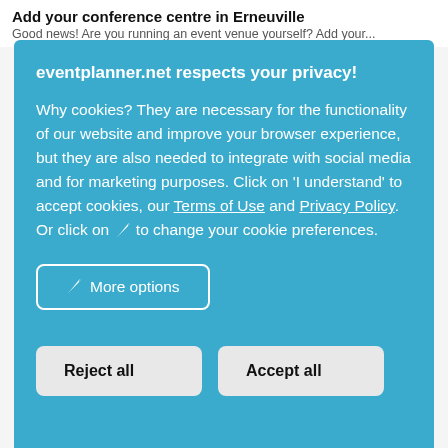Add your conference centre in Erneuville
Good news! Are you running an event venue yourself? Add your...
eventplanner.net respects your privacy!
Why cookies? They are necessary for the functionality of our website and improve your browser experience, but they are also needed to integrate with social media and for marketing purposes. Click on 'I understand' to accept cookies, our Terms of Use and Privacy Policy. Or click on ✏ to change your cookie preferences.
More options
Reject all
Accept all
help | contact | organise an event | organise a wedding | university | app | terms of use | privacy | cookies